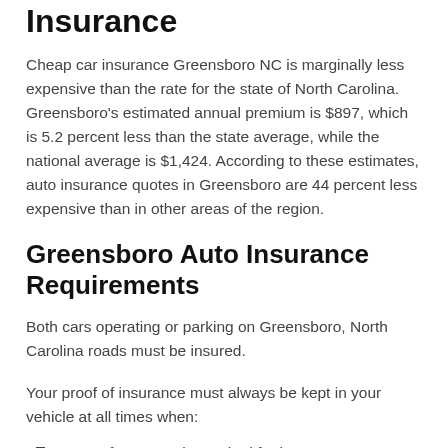Insurance
Cheap car insurance Greensboro NC is marginally less expensive than the rate for the state of North Carolina. Greensboro's estimated annual premium is $897, which is 5.2 percent less than the state average, while the national average is $1,424. According to these estimates, auto insurance quotes in Greensboro are 44 percent less expensive than in other areas of the region.
Greensboro Auto Insurance Requirements
Both cars operating or parking on Greensboro, North Carolina roads must be insured.
Your proof of insurance must always be kept in your vehicle at all times when:
Law enforcement has asked for it